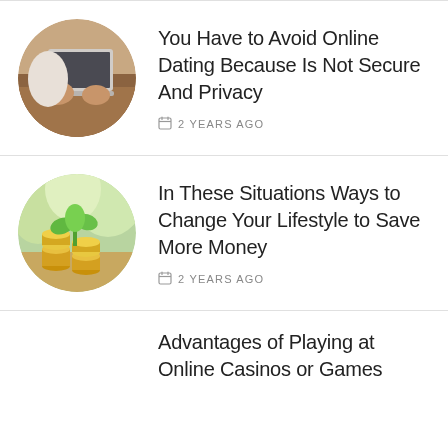You Have to Avoid Online Dating Because Is Not Secure And Privacy — 2 YEARS AGO
In These Situations Ways to Change Your Lifestyle to Save More Money — 2 YEARS AGO
Advantages of Playing at Online Casinos or Games